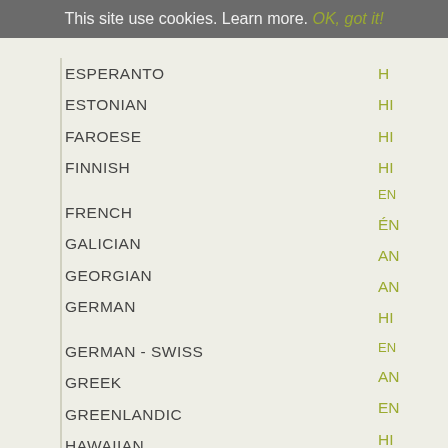This site use cookies. Learn more. OK, got it!
ESPERANTO
ESTONIAN
FAROESE
FINNISH
FRENCH
GALICIAN
GEORGIAN
GERMAN
GERMAN - SWISS
GREEK
GREENLANDIC
HAWAIIAN
HUNGARIAN - MAGYAR
ICELANDIC
IRISH